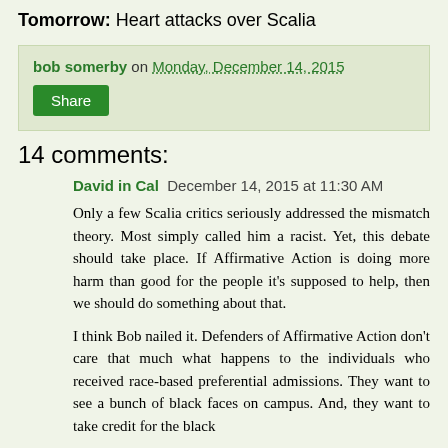Tomorrow: Heart attacks over Scalia
bob somerby on Monday, December 14, 2015
Share
14 comments:
David in Cal  December 14, 2015 at 11:30 AM
Only a few Scalia critics seriously addressed the mismatch theory. Most simply called him a racist. Yet, this debate should take place. If Affirmative Action is doing more harm than good for the people it's supposed to help, then we should do something about that.
I think Bob nailed it. Defenders of Affirmative Action don't care that much what happens to the individuals who received race-based preferential admissions. They want to see a bunch of black faces on campus. And, they want to take credit for the black faces. That's all — the rest of what happens to these students doesn't